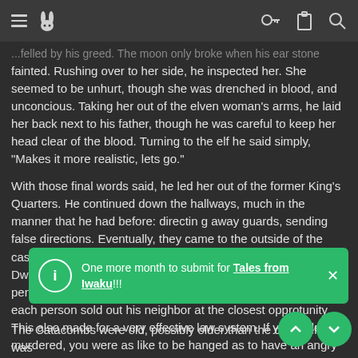Navigation bar with menu, rabbit icon, key, clipboard, and search icons
fainted. Rushing over to her side, he inspected her. She seemed to be unhurt, though she was drenched in blood, and unconcious. Taking her out of the elven woman's arms, he laid her back next to his father, though he was careful to keep her head clear of the blood. Turning to the elf he said simply, "Makes it more realistic, lets go."
With those final words said, he led her out of the former King's Quarters. He continued down the hallways, much in the manner that he had before: directin g away guards, sending false directions. Eventually, they came to the outside of the castle though a small side entrance, and into the city itself. Dwarven cities were supposed to be notoriously hard to penetrate. There were no spies that the elves could send, as each person sold out his neighbor at the closest opprotunity. This also made for a very effective law system. If you stole or murdered, you were as like to be hanged as to have an angry mob lynch you within a five minute period of the act. Now more ca... unnoticable door, he...
[Figure (other): Green notification popup: 'One more month to submit for Tales from Iwaku!!!' with info icon and close button]
The Catacombs were old, possibly older than the city itself. It was